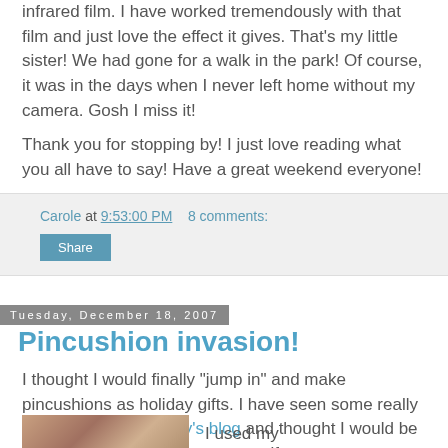infrared film. I have worked tremendously with that film and just love the effect it gives. That's my little sister! We had gone for a walk in the park! Of course, it was in the days when I never left home without my camera. Gosh I miss it!
Thank you for stopping by! I just love reading what you all have to say! Have a great weekend everyone!
Carole at 9:53:00 PM   8 comments:
Share
Tuesday, December 18, 2007
Pincushion invasion!
I thought I would finally "jump in" and make pincushions as holiday gifts. I have seen some really sweet one's on Wendy's blog and thought I would be a copy cat and make some myself.
I used my